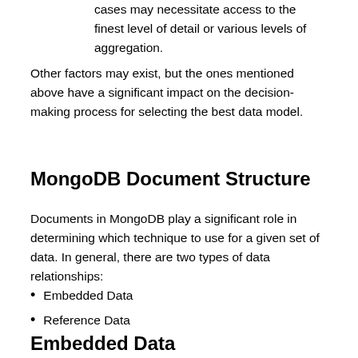cases may necessitate access to the finest level of detail or various levels of aggregation.
Other factors may exist, but the ones mentioned above have a significant impact on the decision-making process for selecting the best data model.
MongoDB Document Structure
Documents in MongoDB play a significant role in determining which technique to use for a given set of data. In general, there are two types of data relationships:
Embedded Data
Reference Data
Embedded Data